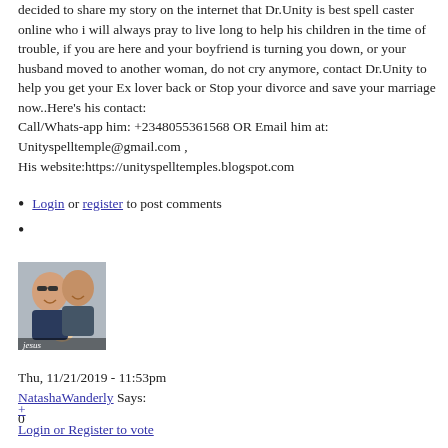decided to share my story on the internet that Dr.Unity is best spell caster online who i will always pray to live long to help his children in the time of trouble, if you are here and your boyfriend is turning you down, or your husband moved to another woman, do not cry anymore, contact Dr.Unity to help you get your Ex lover back or Stop your divorce and save your marriage now..Here's his contact:
Call/Whats-app him: +2348055361568 OR Email him at: Unityspelltemple@gmail.com ,
His website:https://unityspelltemples.blogspot.com
Login or register to post comments
[Figure (photo): Profile photo showing two smiling adults and a baby, with text 'jesus' at bottom left]
Thu, 11/21/2019 - 11:53pm
NatashaWanderly Says:
0
+ Login or Register to vote